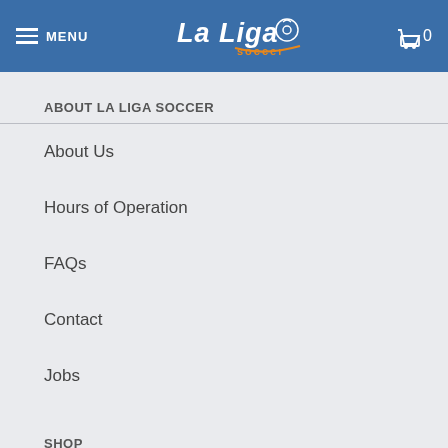MENU | La Liga soccer | 0
ABOUT LA LIGA SOCCER
About Us
Hours of Operation
FAQs
Contact
Jobs
SHOP
My Account